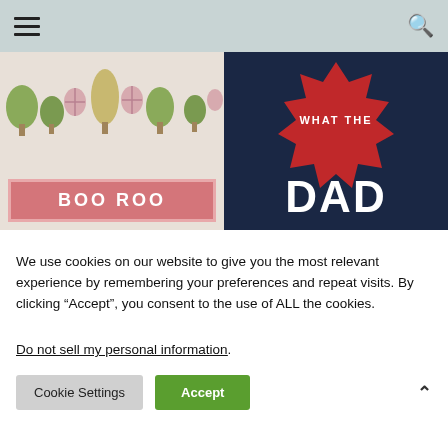Navigation bar with hamburger menu and search icon
[Figure (illustration): Two-panel banner: left panel shows decorative trees and Easter eggs pattern with a pink 'BOO ROO' sign; right panel shows dark navy background with a red starburst badge reading 'WHAT THE DAD']
We use cookies on our website to give you the most relevant experience by remembering your preferences and repeat visits. By clicking “Accept”, you consent to the use of ALL the cookies.
Do not sell my personal information.
Cookie Settings  Accept